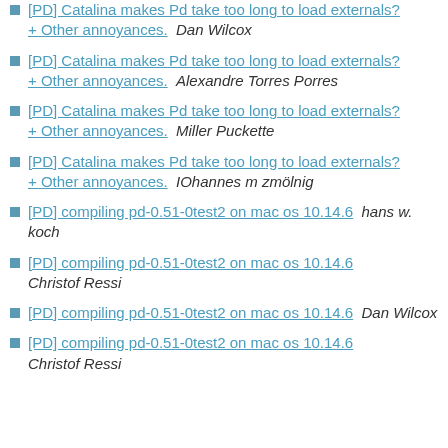[PD] Catalina makes Pd take too long to load externals? + Other annoyances.  Dan Wilcox
[PD] Catalina makes Pd take too long to load externals? + Other annoyances.  Alexandre Torres Porres
[PD] Catalina makes Pd take too long to load externals? + Other annoyances.  Miller Puckette
[PD] Catalina makes Pd take too long to load externals? + Other annoyances.  IOhannes m zmölnig
[PD] compiling pd-0.51-0test2 on mac os 10.14.6  hans w. koch
[PD] compiling pd-0.51-0test2 on mac os 10.14.6  Christof Ressi
[PD] compiling pd-0.51-0test2 on mac os 10.14.6  Dan Wilcox
[PD] compiling pd-0.51-0test2 on mac os 10.14.6  Christof Ressi